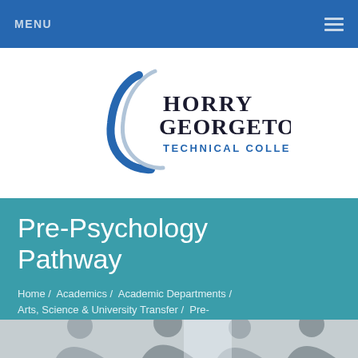MENU
[Figure (logo): Horry Georgetown Technical College logo with blue arc swoosh and text]
Pre-Psychology Pathway
Home / Academics / Academic Departments / Arts, Science & University Transfer / Pre-Psychology Pathway